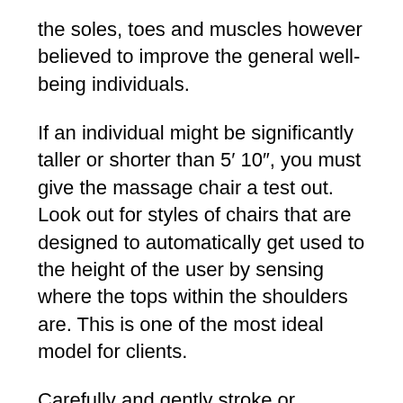the soles, toes and muscles however believed to improve the general well-being individuals.
If an individual might be significantly taller or shorter than 5′ 10″, you must give the massage chair a test out. Look out for styles of chairs that are designed to automatically get used to the height of the user by sensing where the tops within the shoulders are. This is one of the most ideal model for clients.
Carefully and gently stroke or massage the gland along the sides only with all your finger tips, not claws. You don't want to touch the center or finest where there are a variety sensitive nerves and where you can do some damage.